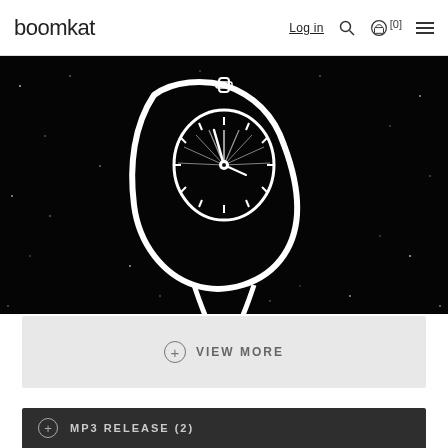boomkat  Log in  [0]
[Figure (illustration): Black and white illustration of a melting/drooping clock face against a dark starry background, reminiscent of Dali surrealist style]
+ VIEW MORE
+ MP3 RELEASE (2)